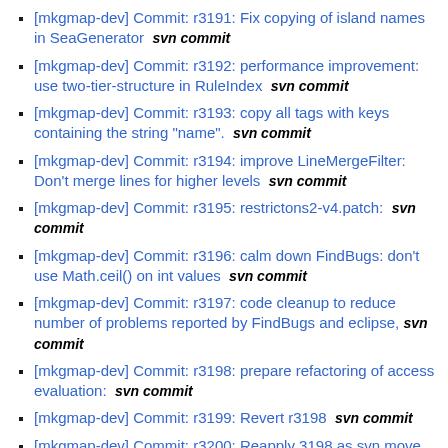[mkgmap-dev] Commit: r3191: Fix copying of island names in SeaGenerator   svn commit
[mkgmap-dev] Commit: r3192: performance improvement: use two-tier-structure in RuleIndex   svn commit
[mkgmap-dev] Commit: r3193: copy all tags with keys containing the string "name".   svn commit
[mkgmap-dev] Commit: r3194: improve LineMergeFilter: Don't merge lines for higher levels   svn commit
[mkgmap-dev] Commit: r3195: restrictons2-v4.patch:   svn commit
[mkgmap-dev] Commit: r3196: calm down FindBugs: don't use Math.ceil() on int values   svn commit
[mkgmap-dev] Commit: r3197: code cleanup to reduce number of problems reported by FindBugs and eclipse, svn commit
[mkgmap-dev] Commit: r3198: prepare refactoring of access evaluation:   svn commit
[mkgmap-dev] Commit: r3199: Revert r3198   svn commit
[mkgmap-dev] Commit: r3200: Reapply 3198 as svn move   svn commit